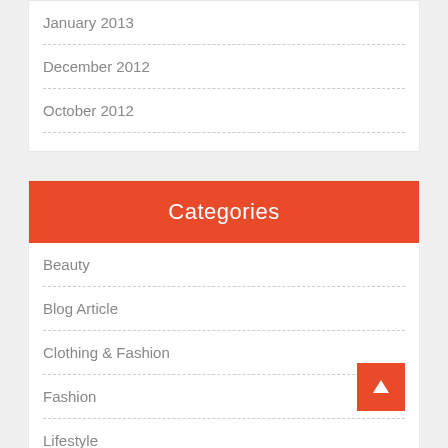January 2013
December 2012
October 2012
Categories
Beauty
Blog Article
Clothing & Fashion
Fashion
Lifestyle
Magazine